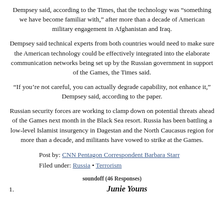Dempsey said, according to the Times, that the technology was “something we have become familiar with,” after more than a decade of American military engagement in Afghanistan and Iraq.
Dempsey said technical experts from both countries would need to make sure the American technology could be effectively integrated into the elaborate communication networks being set up by the Russian government in support of the Games, the Times said.
“If you’re not careful, you can actually degrade capability, not enhance it,” Dempsey said, according to the paper.
Russian security forces are working to clamp down on potential threats ahead of the Games next month in the Black Sea resort. Russia has been battling a low-level Islamist insurgency in Dagestan and the North Caucasus region for more than a decade, and militants have vowed to strike at the Games.
Post by: CNN Pentagon Correspondent Barbara Starr
Filed under: Russia • Terrorism
soundoff (46 Responses)
1.
Junie Youns